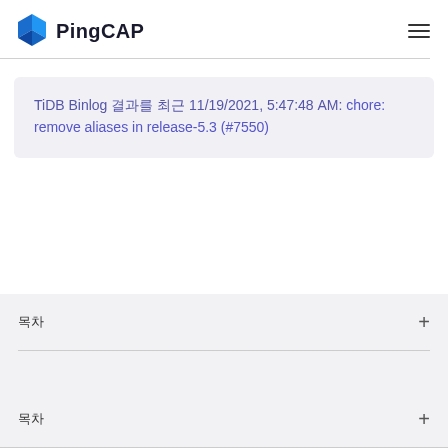PingCAP
TiDB Binlog 결과를 최근 11/19/2021, 5:47:48 AM: chore: remove aliases in release-5.3 (#7550)
목차 +
목차 +